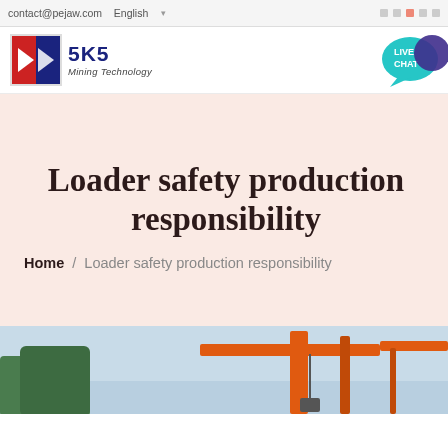contact@pejaw.com  English
[Figure (logo): SKS Mining Technology company logo with red/blue arrow icon]
[Figure (illustration): Live Chat speech bubble icon in teal/purple]
Loader safety production responsibility
Home / Loader safety production responsibility
[Figure (photo): Partial photo of orange crane/loader machinery against blue sky with green trees]